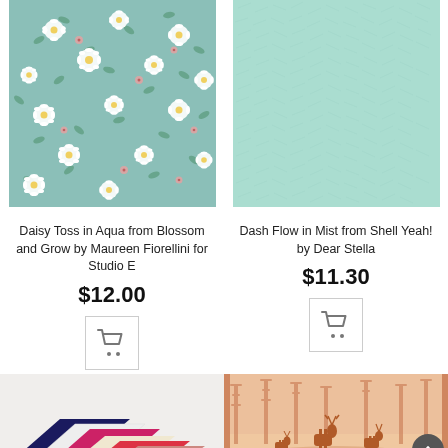[Figure (photo): Daisy Toss in Aqua fabric - floral pattern with white daisies on teal/aqua background]
[Figure (photo): Dash Flow in Mist fabric - solid light mint/seafoam green with subtle texture pattern]
Daisy Toss in Aqua from Blossom and Grow by Maureen Fiorellini for Studio E
$12.00
[Figure (illustration): Shopping cart button icon]
Dash Flow in Mist from Shell Yeah! by Dear Stella
$11.30
[Figure (illustration): Shopping cart button icon]
[Figure (photo): Stack of colorful felt pieces in various colors including navy, white, magenta, red, and others]
[Figure (photo): Deer silhouettes in a forest scene, pink/salmon tones fabric print]